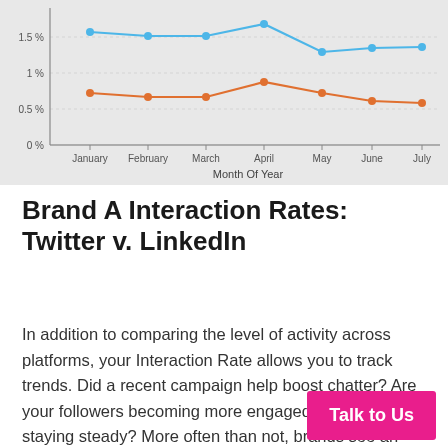[Figure (line-chart): ]
Brand A Interaction Rates: Twitter v. LinkedIn
In addition to comparing the level of activity across platforms, your Interaction Rate allows you to track trends. Did a recent campaign help boost chatter? Are your followers becoming more engaged as you grow, staying steady? More often than not, brands see an adverse effect with growth — Interaction Rates tend to lower. Normally, this is not worry as, more often than not, a small p